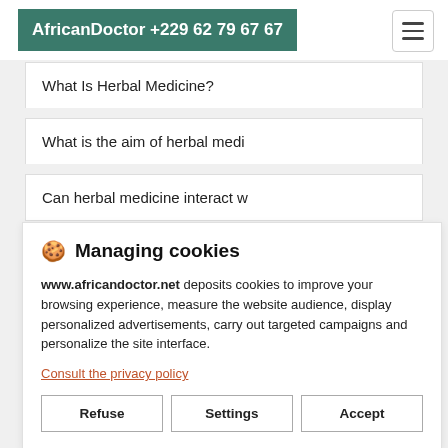AfricanDoctor +229 62 79 67 67
What Is Herbal Medicine?
What is the aim of herbal medi
Can herbal medicine interact w
🍪 Managing cookies
www.africandoctor.net deposits cookies to improve your browsing experience, measure the website audience, display personalized advertisements, carry out targeted campaigns and personalize the site interface.
Consult the privacy policy
Refuse   Settings   Accept
THE TRUTHS AND MYTHS BEHIND